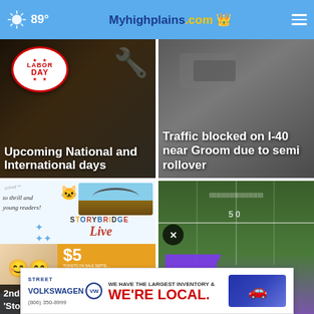Myhighplains.com — 89°
[Figure (photo): Labor Day badge with stars and tools in background, with article title overlay: Upcoming National and International days]
[Figure (photo): Blurry interior photo, with article title overlay: Traffic blocked on I-40 near Groom due to semi rollover]
[Figure (photo): StoryBridge Live promotional graphic with $5 tickets, kids photo, and caption: 2nd 'Storybridge...']
[Figure (photo): Football field with people standing in a line, text AHIRSRO visible, close button overlay, ad banner at bottom: Street Volkswagen WE'RE LOCAL.]
WE HAVE THE LARGEST INVENTORY & WE'RE LOCAL.
STREET VOLKSWAGEN (806) 350-8999